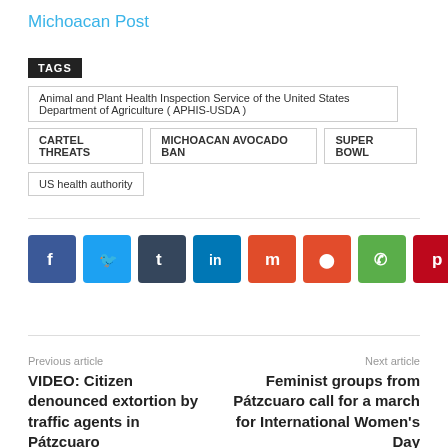Michoacan Post
TAGS
Animal and Plant Health Inspection Service of the United States Department of Agriculture ( APHIS-USDA )
CARTEL THREATS
MICHOACAN AVOCADO BAN
SUPER BOWL
US health authority
[Figure (other): Social media share buttons: Facebook, Twitter, Tumblr, LinkedIn, Mix, Reddit, WhatsApp, Pinterest]
Previous article
VIDEO: Citizen denounced extortion by traffic agents in Pátzcuaro
Next article
Feminist groups from Pátzcuaro call for a march for International Women's Day